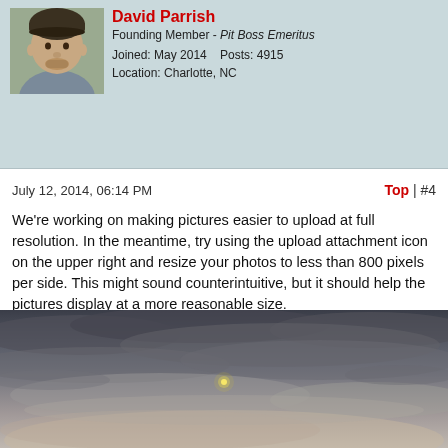[Figure (photo): Profile avatar photo of David Parrish, a man wearing a cap and gray shirt]
David Parrish
Founding Member - Pit Boss Emeritus
Joined: May 2014    Posts: 4915
Location: Charlotte, NC
July 12, 2014, 06:14 PM
Top | #4
We're working on making pictures easier to upload at full resolution. In the meantime, try using the upload attachment icon on the upper right and resize your photos to less than 800 pixels per side. This might sound counterintuitive, but it should help the pictures display at a more reasonable size.
Pit Boss
[Figure (photo): Outdoor sky photograph showing cloudy sky at dusk/dawn with a small bright light point visible near the center]